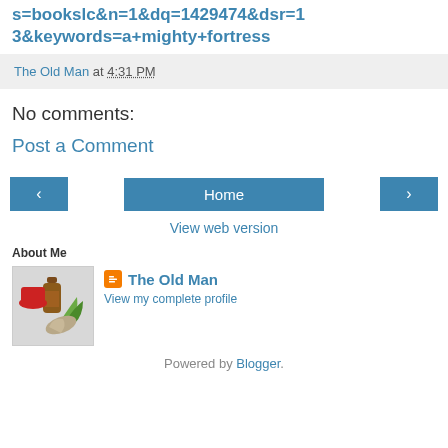s=bookslc&n=1&dq=1429474&dsr=13&keywords=a+mighty+fortress
The Old Man at 4:31 PM
No comments:
Post a Comment
Home
View web version
About Me
[Figure (illustration): Profile avatar image showing a cartoon figure with a bottle]
The Old Man
View my complete profile
Powered by Blogger.